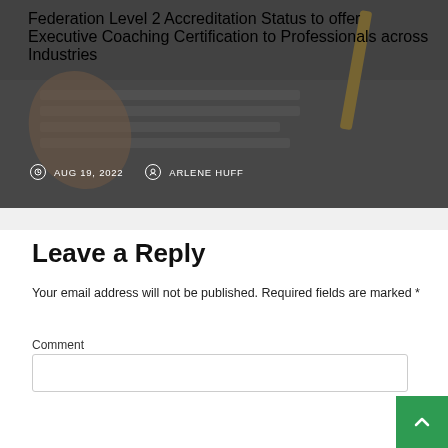[Figure (photo): Dark semi-transparent overlay over a photo of hands on a keyboard with a yellow pencil, showing article card with title and metadata]
Federation Level 2 Accreditation Status to offer Executive Coaching Certification to Professionals across Industries
AUG 19, 2022  ARLENE HUFF
Leave a Reply
Your email address will not be published. Required fields are marked *
Comment